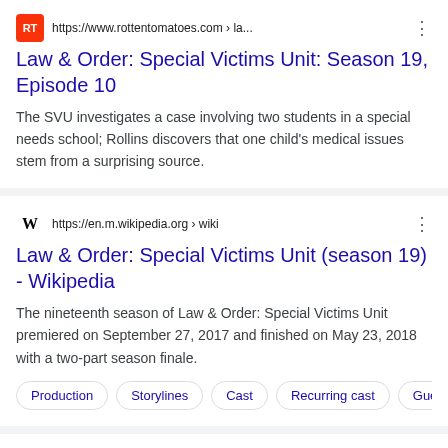https://www.rottentomatoes.com › la...
Law & Order: Special Victims Unit: Season 19, Episode 10
The SVU investigates a case involving two students in a special needs school; Rollins discovers that one child's medical issues stem from a surprising source.
https://en.m.wikipedia.org › wiki
Law & Order: Special Victims Unit (season 19) - Wikipedia
The nineteenth season of Law & Order: Special Victims Unit premiered on September 27, 2017 and finished on May 23, 2018 with a two-part season finale.
Production
Storylines
Cast
Recurring cast
Guest stars
Trolling: Airline...